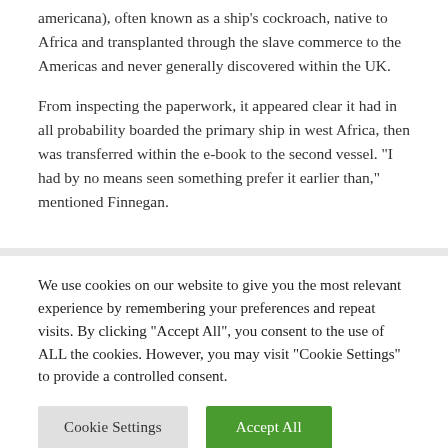americana), often known as a ship's cockroach, native to Africa and transplanted through the slave commerce to the Americas and never generally discovered within the UK.
From inspecting the paperwork, it appeared clear it had in all probability boarded the primary ship in west Africa, then was transferred within the e-book to the second vessel. "I had by no means seen something prefer it earlier than," mentioned Finnegan.
We use cookies on our website to give you the most relevant experience by remembering your preferences and repeat visits. By clicking "Accept All", you consent to the use of ALL the cookies. However, you may visit "Cookie Settings" to provide a controlled consent.